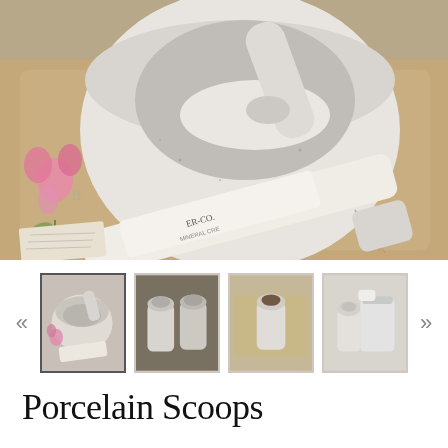[Figure (photo): Close-up photo of a white speckled porcelain mortar and pestle with white granular substance inside, accompanied by pink flowers on the left, and a white tube labeled 'ER-CO.' lying diagonally in the foreground, all arranged on a wooden tray background.]
[Figure (photo): Thumbnail 1: White porcelain mortar and pestle with a small scoop, selected state with border]
[Figure (photo): Thumbnail 2: Two porcelain scoops side by side on a dark background]
[Figure (photo): Thumbnail 3: Porcelain scoop on a wooden tray with dark material inside]
[Figure (photo): Thumbnail 4: White porcelain scoop near a glass jar or container]
Porcelain Scoops